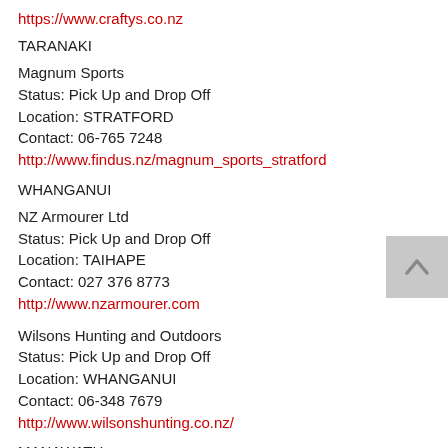https://www.craftys.co.nz
TARANAKI
Magnum Sports
Status: Pick Up and Drop Off
Location: STRATFORD
Contact: 06-765 7248
http://www.findus.nz/magnum_sports_stratford
WHANGANUI
NZ Armourer Ltd
Status: Pick Up and Drop Off
Location: TAIHAPE
Contact: 027 376 8773
http://www.nzarmourer.com
Wilsons Hunting and Outdoors
Status: Pick Up and Drop Off
Location: WHANGANUI
Contact: 06-348 7679
http://www.wilsonshunting.co.nz/
MANAWATU